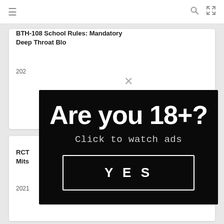≡  🔍 ✕
BTH-108 School Rules: Mandatory Deep Throat Blo[wjob]
202[1]
RCT[S] Mitsu[naga]
2021
[Figure (screenshot): Age verification modal popup with black background. Large white bold text reads 'Are you 18+?' with subtitle 'Click to watch ads' and a YES button with white border. An X close button appears above the modal.]